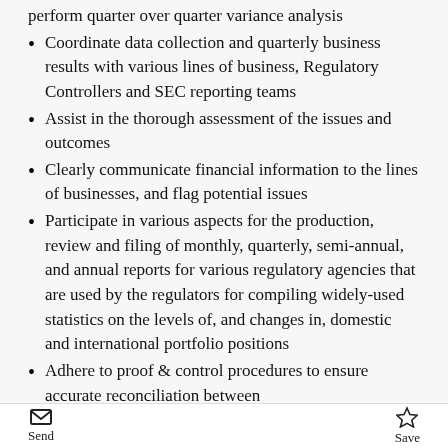perform quarter over quarter variance analysis
Coordinate data collection and quarterly business results with various lines of business, Regulatory Controllers and SEC reporting teams
Assist in the thorough assessment of the issues and outcomes
Clearly communicate financial information to the lines of businesses, and flag potential issues
Participate in various aspects for the production, review and filing of monthly, quarterly, semi-annual, and annual reports for various regulatory agencies that are used by the regulators for compiling widely-used statistics on the levels of, and changes in, domestic and international portfolio positions
Adhere to proof & control procedures to ensure accurate reconciliation between
Send   Save